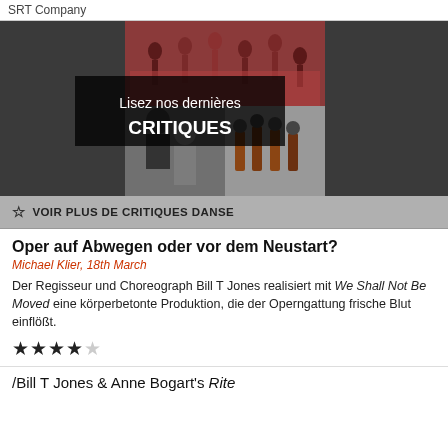SRT Company
[Figure (photo): Banner image with collage of performance photos and overlay text reading 'Lisez nos dernières CRITIQUES']
☆ VOIR PLUS DE CRITIQUES DANSE
Oper auf Abwegen oder vor dem Neustart?
Michael Klier, 18th March
Der Regisseur und Choreograph Bill T Jones realisiert mit We Shall Not Be Moved eine körperbetonte Produktion, die der Operngattung frische Blut einflößt.
★★★★☆
/Bill T Jones & Anne Bogart's Rite